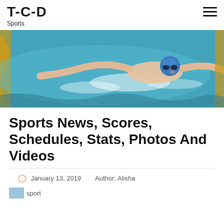T-C-D Sports
[Figure (photo): Swimmer doing butterfly stroke in a pool with yellow lane dividers, wearing a blue cap and goggles]
Sports News, Scores, Schedules, Stats, Photos And Videos
January 13, 2019   Author: Alisha
[Figure (photo): Small thumbnail image labeled 'sport']